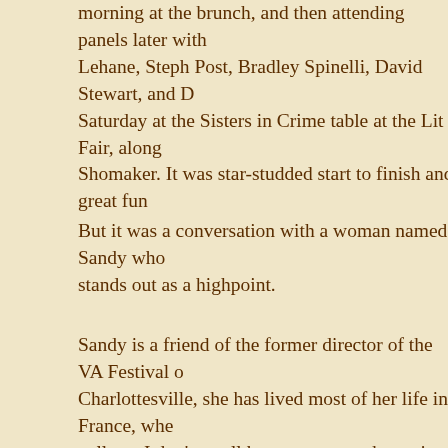morning at the brunch, and then attending panels later with Lehane, Steph Post, Bradley Spinelli, David Stewart, and D Saturday at the Sisters in Crime table at the Lit Fair, along Shomaker. It was star-studded start to finish and great fun
But it was a conversation with a woman named Sandy who stands out as a highpoint.
Sandy is a friend of the former director of the VA Festival o Charlottesville, she has lived most of her life in France, whe college. I don't recall how we got on the topic about the bus but I think it started with something about email and then so law giving many workers the "right to disconnect" from ema work life and private life. Sandy began chatting about the d U.S. one, and about the built-in "pauses" in the day, whethe or for lunch—an actual lunch, with people and conversation agreement, eagerly, even while I couldn't help but admit tha my desk, working right through, hardly slowing down at all, me from the computer screen—simply a brief graze through hand.